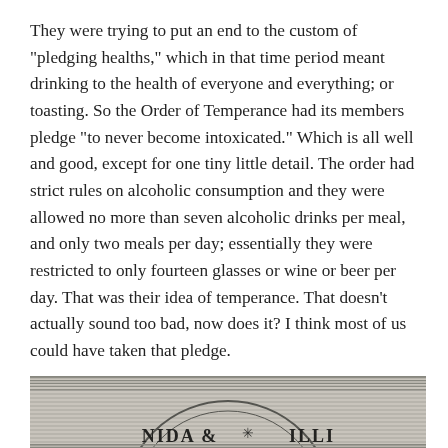They were trying to put an end to the custom of "pledging healths," which in that time period meant drinking to the health of everyone and everything; or toasting. So the Order of Temperance had its members pledge "to never become intoxicated." Which is all well and good, except for one tiny little detail. The order had strict rules on alcoholic consumption and they were allowed no more than seven alcoholic drinks per meal, and only two meals per day; essentially they were restricted to only fourteen glasses or wine or beer per day. That was their idea of temperance. That doesn't actually sound too bad, now does it? I think most of us could have taken that pledge.
[Figure (illustration): Partial view of a circular seal or emblem with text reading 'NIDA & ILLI' visible, with decorative horizontal line borders above and below]